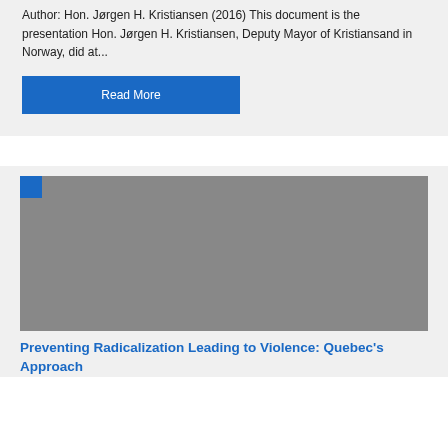Author: Hon. Jørgen H. Kristiansen (2016) This document is the presentation Hon. Jørgen H. Kristiansen, Deputy Mayor of Kristiansand in Norway, did at...
Read More
[Figure (photo): Gray placeholder image with a small blue square in the top-left corner]
Preventing Radicalization Leading to Violence: Quebec's Approach